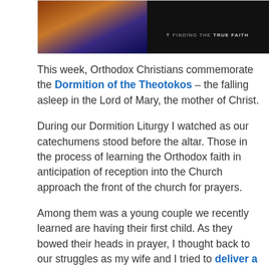[Figure (photo): A dark banner image showing a religious icon (appears to be Orthodox iconography with gold and blue tones) on the left side, and text 'FINDING THE TRUE FAITH' with a cross symbol on the right side against a black background.]
This week, Orthodox Christians commemorate the Dormition of the Theotokos – the falling asleep in the Lord of Mary, the mother of Christ.
During our Dormition Liturgy I watched as our catechumens stood before the altar. Those in the process of learning the Orthodox faith in anticipation of reception into the Church approach the front of the church for prayers.
Among them was a young couple we recently learned are having their first child. As they bowed their heads in prayer, I thought back to our struggles as my wife and I tried to deliver a baby into the world.